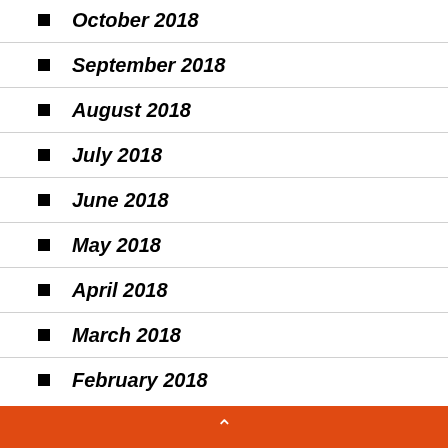October 2018
September 2018
August 2018
July 2018
June 2018
May 2018
April 2018
March 2018
February 2018